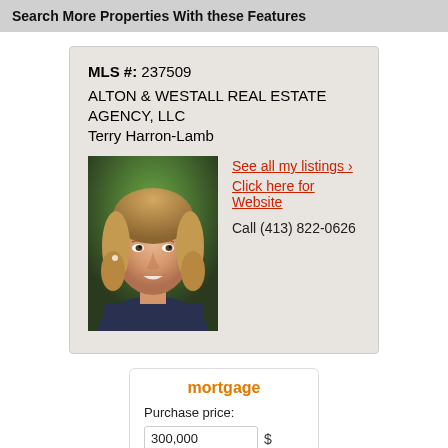Search More Properties With these Features
MLS #: 237509
ALTON & WESTALL REAL ESTATE AGENCY, LLC
Terry Harron-Lamb
[Figure (photo): Headshot of Terry Harron-Lamb, a woman with blonde hair smiling, outdoors with green background]
See all my listings ›
Click here for Website
Call (413) 822-0626
mortgage
Purchase price:
300,000 $